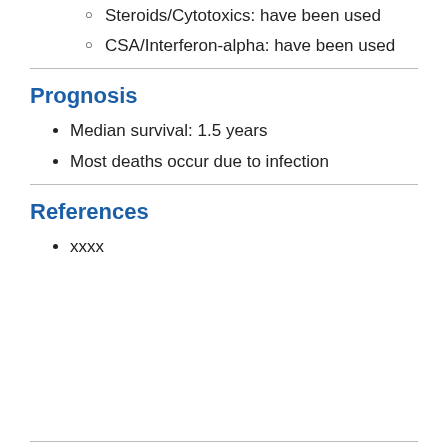Steroids/Cytotoxics: have been used
CSA/Interferon-alpha: have been used
Prognosis
Median survival: 1.5 years
Most deaths occur due to infection
References
xxxx